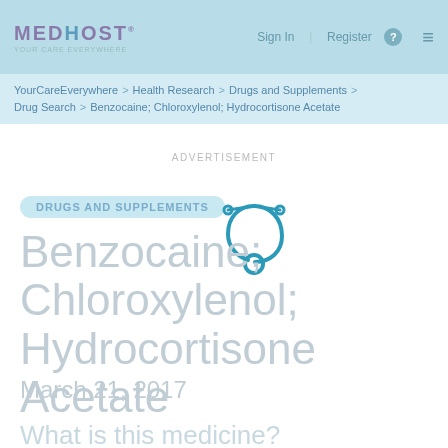MEDHOST | Sign In | Register | ☰
YourCareEverywhere > Health Research > Drugs and Supplements > Drug Search > Benzocaine; Chloroxylenol; Hydrocortisone Acetate
ADVERTISEMENT
DRUGS AND SUPPLEMENTS
Benzocaine; Chloroxylenol; Hydrocortisone Acetate
March 21, 2017
What is this medicine?